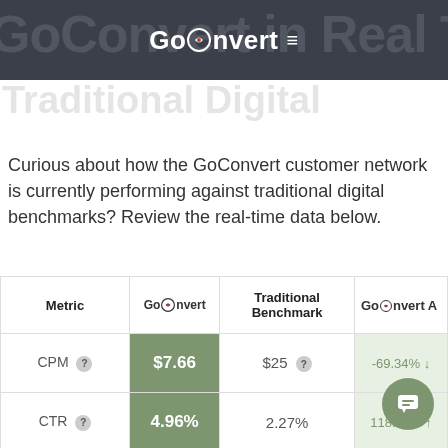GoConvert
GoConvert in Real Time vs. Traditional Digital
Curious about how the GoConvert customer network is currently performing against traditional digital benchmarks? Review the real-time data below.
| Metric | GoConvert | Traditional Benchmark | GoConvert Advantage |
| --- | --- | --- | --- |
| CPM ? | $7.66 | $25 ? | -69.34% ↓ |
| CTR ? | 4.96% | 2.27% | 118.51% ↑ |
| CPC ? | $0.25 | $1.46 |  |